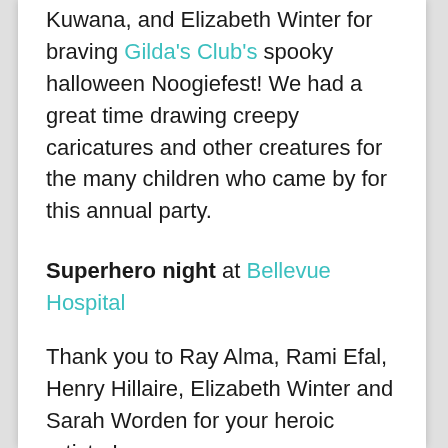Kuwana, and Elizabeth Winter for braving Gilda's Club's spooky halloween Noogiefest! We had a great time drawing creepy caricatures and other creatures for the many children who came by for this annual party.
Superhero night at Bellevue Hospital
Thank you to Ray Alma, Rami Efal, Henry Hillaire, Elizabeth Winter and Sarah Worden for your heroic artistry!
Valentine's Day party with CancerCare, Midtown Manhattan